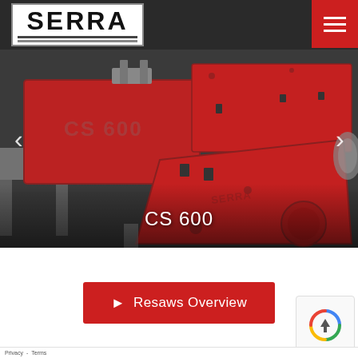[Figure (logo): SERRA company logo in white box with bold black text and horizontal lines below]
[Figure (photo): Red industrial CS 600 resaw machine by SERRA, photographed outdoors in warehouse/yard setting. Large red metal machine with 'CS 600' and 'SERRA' labels visible.]
CS 600
Resaws Overview